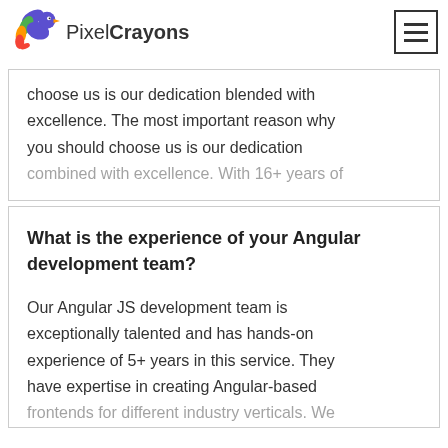PixelCrayons
choose us is our dedication blended with excellence. The most important reason why you should choose us is our dedication combined with excellence. With 16+ years of
What is the experience of your Angular development team?
Our Angular JS development team is exceptionally talented and has hands-on experience of 5+ years in this service. They have expertise in creating Angular-based frontends for different industry verticals. We